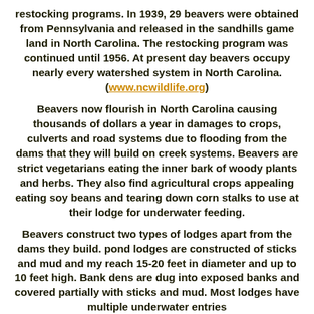restocking programs. In 1939, 29 beavers were obtained from Pennsylvania and released in the sandhills game land in North Carolina. The restocking program was continued until 1956. At present day beavers occupy nearly every watershed system in North Carolina. (www.ncwildlife.org)
Beavers now flourish in North Carolina causing thousands of dollars a year in damages to crops, culverts and road systems due to flooding from the dams that they will build on creek systems. Beavers are strict vegetarians eating the inner bark of woody plants and herbs. They also find agricultural crops appealing eating soy beans and tearing down corn stalks to use at their lodge for underwater feeding.
Beavers construct two types of lodges apart from the dams they build. pond lodges are constructed of sticks and mud and my reach 15-20 feet in diameter and up to 10 feet high. Bank dens are dug into exposed banks and covered partially with sticks and mud. Most lodges have multiple underwater entries